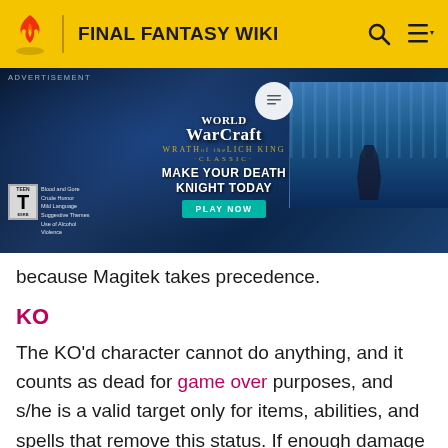FINAL FANTASY WIKI
[Figure (screenshot): World of Warcraft: Wrath of the Lich King Classic advertisement banner showing a death knight and dragon, with ESRB Teen rating, tagline 'Make Your Death Knight Today' and 'Play Now' button]
because Magitek takes precedence.
KO
The KO'd character cannot do anything, and it counts as dead for game over purposes, and s/he is a valid target only for items, abilities, and spells that remove this status. If enough damage is done to a character and his/her HP drops to 0, they will be KO'd. Certain monsters are also incapacitated if their MP reaches 0. It can be